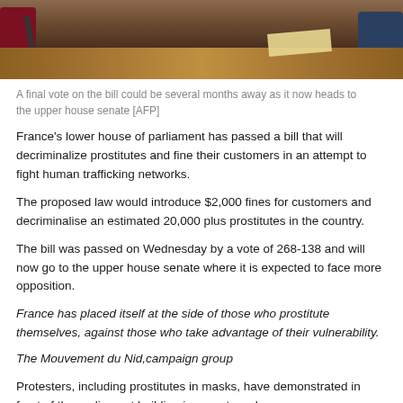[Figure (photo): Parliamentary chamber photo showing a desk with papers, a microphone, and figures in dark suits, viewed from behind/above]
A final vote on the bill could be several months away as it now heads to the upper house senate [AFP]
France's lower house of parliament has passed a bill that will decriminalize prostitutes and fine their customers in an attempt to fight human trafficking networks.
The proposed law would introduce $2,000 fines for customers and decriminalise an estimated 20,000 plus prostitutes in the country.
The bill was passed on Wednesday by a vote of 268-138 and will now go to the upper house senate where it is expected to face more opposition.
France has placed itself at the side of those who prostitute themselves, against those who take advantage of their vulnerability.
The Mouvement du Nid,campaign group
Protesters, including prostitutes in masks, have demonstrated in front of the parliament building in recent weeks.